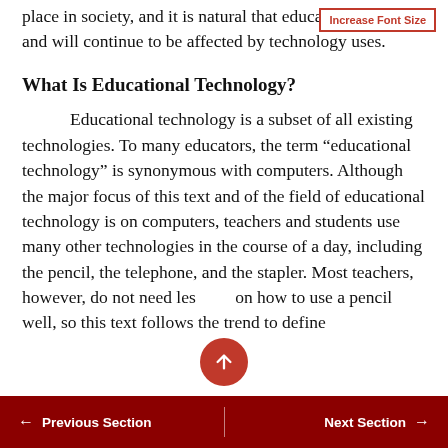place in society, and it is natural that education has been and will continue to be affected by technology uses.
What Is Educational Technology?
Educational technology is a subset of all existing technologies. To many educators, the term “educational technology” is synonymous with computers. Although the major focus of this text and of the field of educational technology is on computers, teachers and students use many other technologies in the course of a day, including the pencil, the telephone, and the stapler. Most teachers, however, do not need lessons on how to use a pencil well, so this text follows the trend to define
← Previous Section    Next Section →